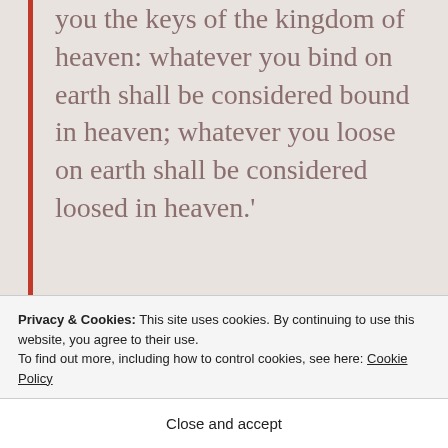you the keys of the kingdom of heaven: whatever you bind on earth shall be considered bound in heaven; whatever you loose on earth shall be considered loosed in heaven.'
Gospel for Solemnity of St Peter and Paul
Matthew 16:13-19
Privacy & Cookies: This site uses cookies. By continuing to use this website, you agree to their use. To find out more, including how to control cookies, see here: Cookie Policy
Close and accept